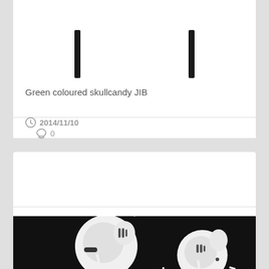[Figure (photo): Green coloured Skullcandy JIB earphones, showing two thin black stems/wires from top]
Green coloured skullcandy JIB
2014/11/10   0
Apple Earphones
[Figure (photo): Apple EarPods earphones on black background, showing two white earbuds]